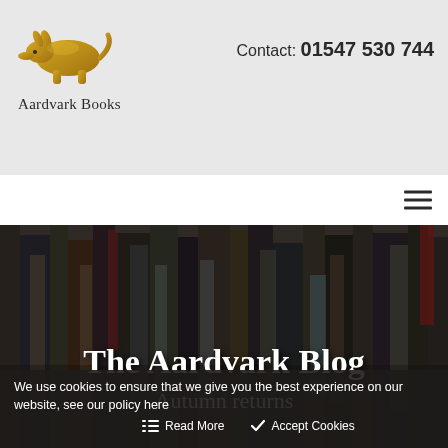Aardvark Books — Contact: 01547 530 744
[Figure (logo): Aardvark golden armadillo logo above text 'Aardvark Books']
The Aardvark Blog
Autumn returns
[Figure (photo): Blurred photo of stacked books on shelves in a bookshop, dark tones]
We use cookies to ensure that we give you the best experience on our website, see our policy here
Read More   Accept Cookies